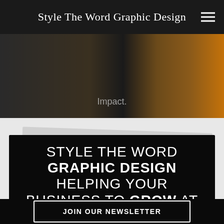Style The Word Graphic Design
Impact.
STYLE THE WORD GRAPHIC DESIGN HELPING YOUR BUSINESS TO GROW AT EVERY LEVEL
We offer professional marketing and business development services.
JOIN OUR NEWSLETTER